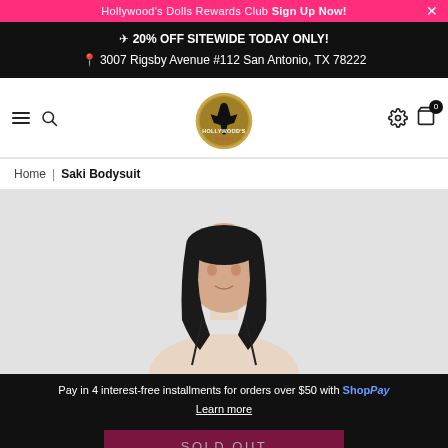Hollywood's Dolls Rewards Club Sign Up Now!
✈ 20% OFF SITEWIDE TODAY ONLY!
📍 3007 Rigsby Avenue #112 San Antonio, TX 78222
[Figure (logo): Hollywood's Boutique circular gold and black logo with silhouette figure]
Home | Saki Bodysuit
[Figure (photo): Woman with long black hair wearing a dark spaghetti strap bodysuit against a light grey background]
Pay in 4 interest-free installments for orders over $50 with Shop Pay
Learn more
SOLD OUT